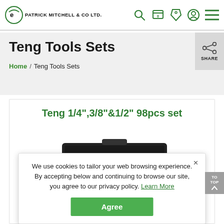Patrick Mitchell & Co Ltd.
Teng Tools Sets
Home / Teng Tools Sets
Teng 1/4",3/8"&1/2" 98pcs set
[Figure (photo): Product image of Teng Tools 98pcs socket set in a case]
We use cookies to tailor your web browsing experience. By accepting below and continuing to browse our site, you agree to our privacy policy. Learn More
Agree